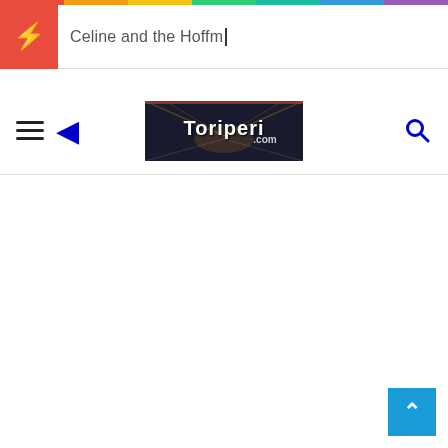[Figure (screenshot): Colorful rainbow horizontal bar at the top of the page]
Celine and the Hoffm_
[Figure (logo): Toriperi.com logo — illuminated warehouse/tunnel interior at night with white stylized text 'Toriperi.com']
[Figure (other): Back to top button — blue square with white upward chevron arrow in bottom right corner]